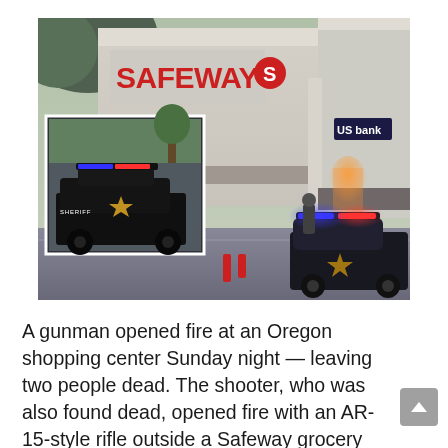[Figure (photo): Photo of a Safeway grocery store and US Bank in an Oregon shopping center at dusk, with multiple sheriff police cars and flashing lights visible. An inset photo in the lower-left shows a close-up of a sheriff patrol car.]
A gunman opened fire at an Oregon shopping center Sunday night — leaving two people dead. The shooter, who was also found dead, opened fire with an AR-15-style rifle outside a Safeway grocery store at The